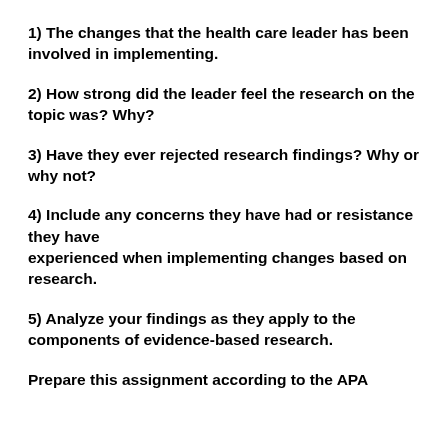1) The changes that the health care leader has been involved in implementing.
2) How strong did the leader feel the research on the topic was? Why?
3) Have they ever rejected research findings? Why or why not?
4) Include any concerns they have had or resistance they have experienced when implementing changes based on research.
5) Analyze your findings as they apply to the components of evidence-based research.
Prepare this assignment according to the APA guidelines found in the...